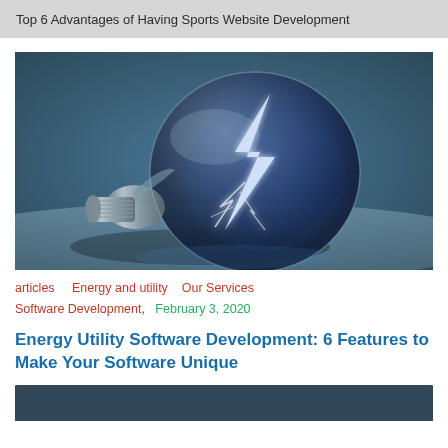Top 6 Advantages of Having Sports Website Development
[Figure (photo): A glass light bulb lying on its side with a dramatic lightning bolt inside it, against a blue-toned background.]
articles    Energy and utility    Our Services
Software Development,  February 3, 2020
Energy Utility Software Development: 6 Features to Make Your Software Unique
[Figure (photo): Partial view of a second article image at bottom of page (cropped).]